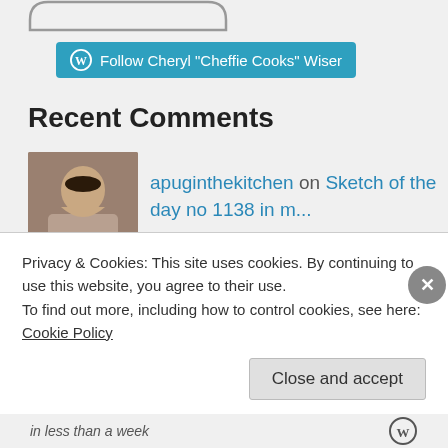[Figure (other): Partial rounded button/pill shape visible at top of page, cropped]
[Figure (other): WordPress Follow button - teal/blue button with WordPress logo icon and text 'Follow Cheryl "Cheffie Cooks" Wiser']
Recent Comments
[Figure (photo): Profile photo of a person with dark hair]
apuginthekitchen on Sketch of the day no 1138 in m...
[Figure (photo): Profile photo of a woman with reddish-brown hair]
Privacy & Cookies: This site uses cookies. By continuing to use this website, you agree to their use.
To find out more, including how to control cookies, see here: Cookie Policy
Close and accept
in less than a week